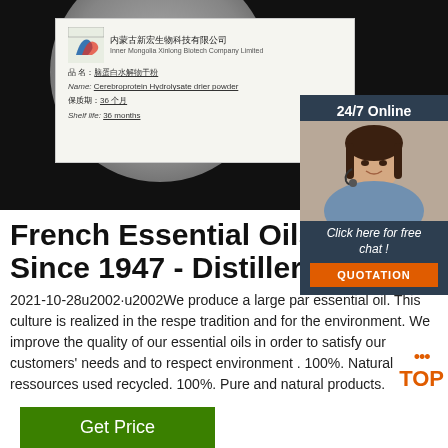[Figure (photo): Product label on dark background showing Inner Mongolia Xinlong Biotech company label for Cerebroprotein Hydrolysate drier powder, shelf life 36 months, with a disk/CD visible at top]
[Figure (photo): Chat widget on right side: 24/7 Online banner, woman with headset photo, Click here for free chat, QUOTATION button]
French Essential Oils Produ Since 1947 - Distillery Duffe
2021-10-28u2002·u2002We produce a large par essential oil. This culture is realized in the respe tradition and for the environment. We improve the quality of our essential oils in order to satisfy our customers' needs and to respect environment . 100%. Natural ressources used recycled. 100%. Pure and natural products.
[Figure (other): Get Price green button]